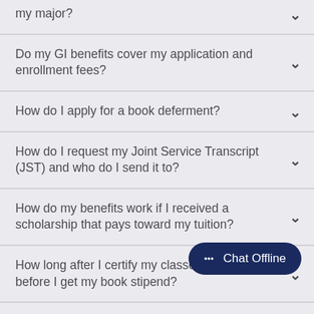my major?
Do my GI benefits cover my application and enrollment fees?
How do I apply for a book deferment?
How do I request my Joint Service Transcript (JST) and who do I send it to?
How do my benefits work if I received a scholarship that pays toward my tuition?
How long after I certify my classes do I wait before I get my book stipend?
How long will it take for the VA to process
Chat Offline